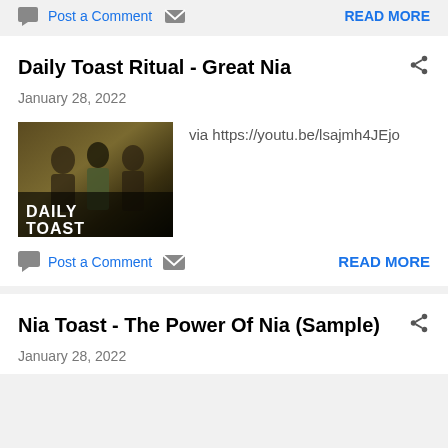Post a Comment  READ MORE
Daily Toast Ritual - Great Nia
January 28, 2022
[Figure (photo): Thumbnail image for Daily Toast Ritual video showing people with text overlay 'DAILY TOAST']
via https://youtu.be/lsajmh4JEjo
Post a Comment   READ MORE
Nia Toast - The Power Of Nia (Sample)
January 28, 2022